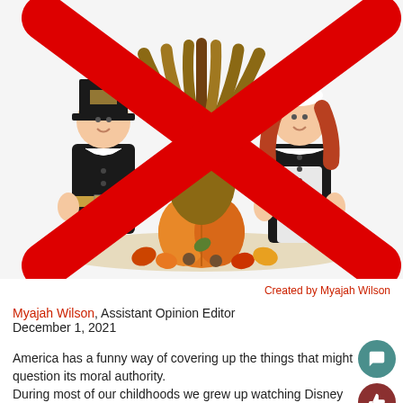[Figure (illustration): Cartoon Thanksgiving illustration showing a pilgrim boy on the left, a turkey in the center, and a pilgrim girl on the right, with a pumpkin and autumn leaves at the bottom. A large red X is drawn over the entire image.]
Created by Myajah Wilson
Myajah Wilson, Assistant Opinion Editor
December 1, 2021
America has a funny way of covering up the things that might question its moral authority.
During most of our childhoods we grew up watching Disney